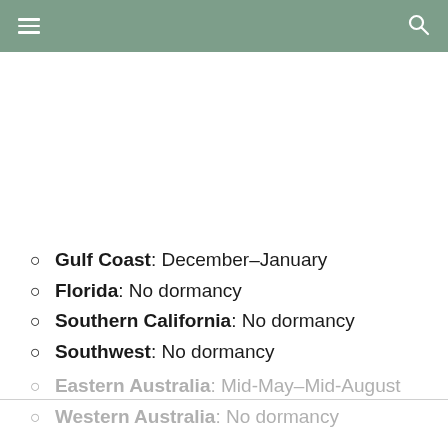Navigation header with menu and search icons
Gulf Coast: December–January
Florida: No dormancy
Southern California: No dormancy
Southwest: No dormancy
Eastern Australia: Mid-May–Mid-August
Western Australia: No dormancy